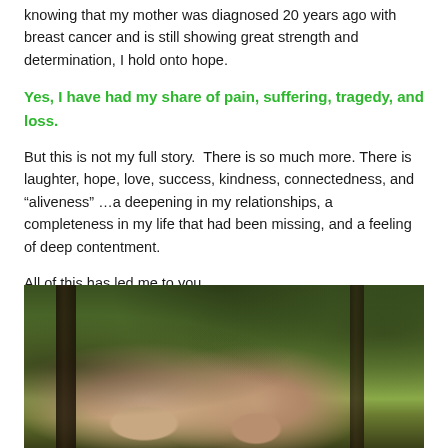knowing that my mother was diagnosed 20 years ago with breast cancer and is still showing great strength and determination, I hold onto hope.
Yes, I have had my share of pain, suffering, tragedy, and loss.
But this is not my full story.  There is so much more. There is laughter, hope, love, success, kindness, connectedness, and “aliveness” …a deepening in my relationships, a completeness in my life that had been missing, and a feeling of deep contentment.
All of this has led me to you...
[Figure (photo): Outdoor photo of two people (man and woman) sitting together in a lush green wooded area with trees and foliage in the background, warm natural lighting.]